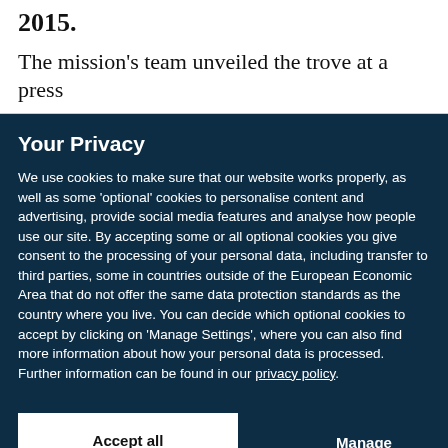2015.
The mission's team unveiled the trove at a press
Your Privacy
We use cookies to make sure that our website works properly, as well as some 'optional' cookies to personalise content and advertising, provide social media features and analyse how people use our site. By accepting some or all optional cookies you give consent to the processing of your personal data, including transfer to third parties, some in countries outside of the European Economic Area that do not offer the same data protection standards as the country where you live. You can decide which optional cookies to accept by clicking on 'Manage Settings', where you can also find more information about how your personal data is processed. Further information can be found in our privacy policy.
Accept all cookies
Manage preferences